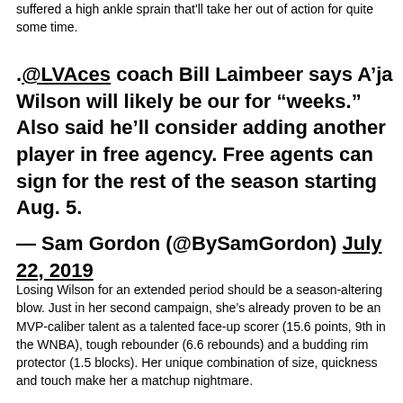suffered a high ankle sprain that'll take her out of action for quite some time.
.@LVAces coach Bill Laimbeer says A’ja Wilson will likely be our for “weeks.” Also said he’ll consider adding another player in free agency. Free agents can sign for the rest of the season starting Aug. 5.
— Sam Gordon (@BySamGordon) July 22, 2019
Losing Wilson for an extended period should be a season-altering blow. Just in her second campaign, she’s already proven to be an MVP-caliber talent as a talented face-up scorer (15.6 points, 9th in the WNBA), tough rebounder (6.6 rebounds) and a budding rim protector (1.5 blocks). Her unique combination of size, quickness and touch make her a matchup nightmare.